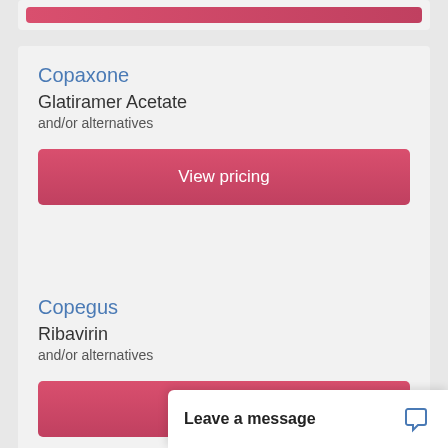[Figure (screenshot): Partial pink/red button at top of page from a previous card]
Copaxone
Glatiramer Acetate
and/or alternatives
View pricing
Copegus
Ribavirin
and/or alternatives
View pricing
Cordarone
Leave a message